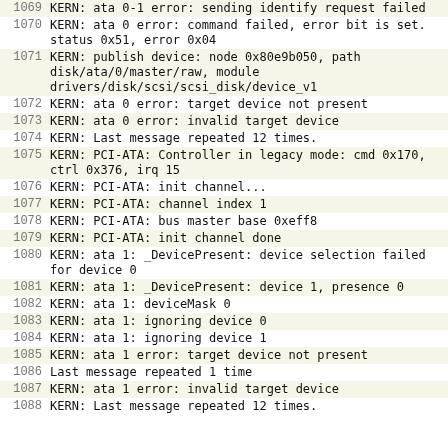| Line | Message |
| --- | --- |
| 1069 | KERN: ata 0-1 error: sending identify request failed |
| 1070 | KERN: ata 0 error: command failed, error bit is set. status 0x51, error 0x04 |
| 1071 | KERN: publish device: node 0x80e9b050, path disk/ata/0/master/raw, module drivers/disk/scsi/scsi_disk/device_v1 |
| 1072 | KERN: ata 0 error: target device not present |
| 1073 | KERN: ata 0 error: invalid target device |
| 1074 | KERN: Last message repeated 12 times. |
| 1075 | KERN: PCI-ATA: Controller in legacy mode: cmd 0x170, ctrl 0x376, irq 15 |
| 1076 | KERN: PCI-ATA: init channel... |
| 1077 | KERN: PCI-ATA: channel index 1 |
| 1078 | KERN: PCI-ATA: bus master base 0xeff8 |
| 1079 | KERN: PCI-ATA: init channel done |
| 1080 | KERN: ata 1: _DevicePresent: device selection failed for device 0 |
| 1081 | KERN: ata 1: _DevicePresent: device 1, presence 0 |
| 1082 | KERN: ata 1: deviceMask 0 |
| 1083 | KERN: ata 1: ignoring device 0 |
| 1084 | KERN: ata 1: ignoring device 1 |
| 1085 | KERN: ata 1 error: target device not present |
| 1086 | Last message repeated 1 time |
| 1087 | KERN: ata 1 error: invalid target device |
| 1088 | KERN: Last message repeated 12 times. |